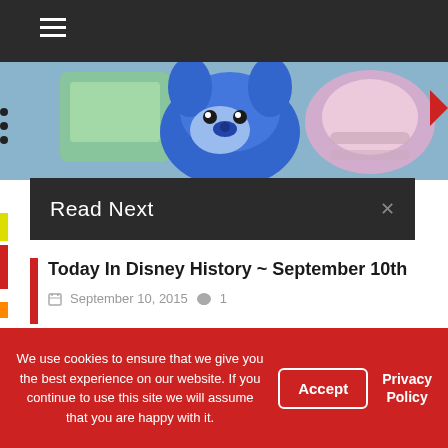☰ (navigation bar)
[Figure (photo): Hero image showing Disney merchandise including a blue Stitch plush figure and a pink character item against a blue background]
Read Next
Today In Disney History ~ September 10th
September 10, 2015  1
[Figure (photo): Thumbnail image showing sparkly purple Mickey Mouse ears with a bow against a blue sky with castle in background]
New Mouse Ears Coming Soon to Disney Parks!
We use cookies to ensure that we give you the best experience on our website. If you continue to use this site we will assume that you are happy with it.
Accept
Privacy Policy